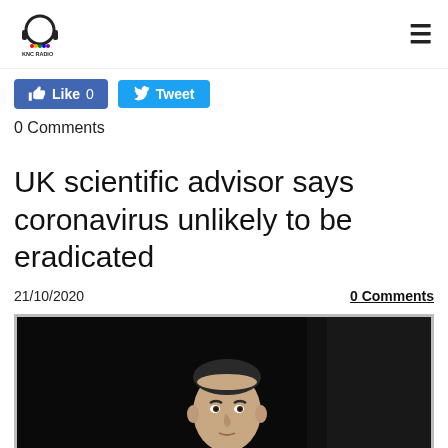KNC RADIO
Like 0   Tweet
0 Comments
UK scientific advisor says coronavirus unlikely to be eradicated
21/10/2020   0 Comments
[Figure (photo): A man in a blue suit standing at a microphone podium against a dark background, photographed from chest up.]